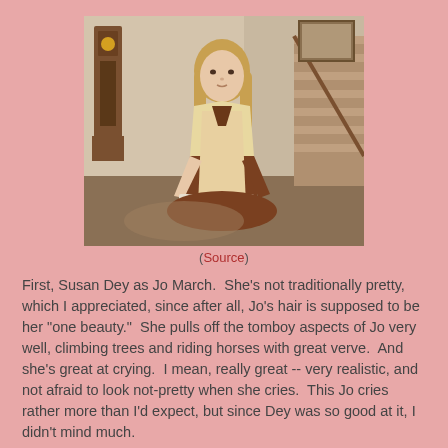[Figure (photo): A woman in period costume (19th century dress with pinafore and brown bow at neck) sitting on the floor holding an open book, in a Victorian-style interior with a grandfather clock and staircase visible in the background.]
(Source)
First, Susan Dey as Jo March.  She's not traditionally pretty, which I appreciated, since after all, Jo's hair is supposed to be her "one beauty."  She pulls off the tomboy aspects of Jo very well, climbing trees and riding horses with great verve.  And she's great at crying.  I mean, really great -- very realistic, and not afraid to look not-pretty when she cries.  This Jo cries rather more than I'd expect, but since Dey was so good at it, I didn't mind much.